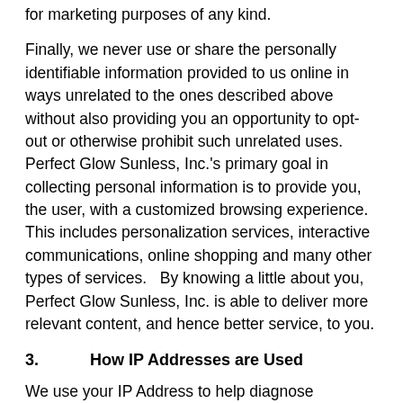for marketing purposes of any kind.
Finally, we never use or share the personally identifiable information provided to us online in ways unrelated to the ones described above without also providing you an opportunity to opt-out or otherwise prohibit such unrelated uses. Perfect Glow Sunless, Inc.'s primary goal in collecting personal information is to provide you, the user, with a customized browsing experience. This includes personalization services, interactive communications, online shopping and many other types of services.   By knowing a little about you, Perfect Glow Sunless, Inc. is able to deliver more relevant content, and hence better service, to you.
3.        How IP Addresses are Used
We use your IP Address to help diagnose problems with our server, and to administer our website.  Your IP Address may also be used for identification of